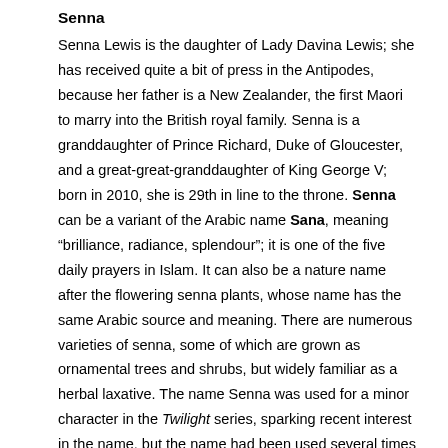Senna
Senna Lewis is the daughter of Lady Davina Lewis; she has received quite a bit of press in the Antipodes, because her father is a New Zealander, the first Maori to marry into the British royal family. Senna is a granddaughter of Prince Richard, Duke of Gloucester, and a great-great-granddaughter of King George V; born in 2010, she is 29th in line to the throne. Senna can be a variant of the Arabic name Sana, meaning “brilliance, radiance, splendour”; it is one of the five daily prayers in Islam. It can also be a nature name after the flowering senna plants, whose name has the same Arabic source and meaning. There are numerous varieties of senna, some of which are grown as ornamental trees and shrubs, but widely familiar as a herbal laxative. The name Senna was used for a minor character in the Twilight series, sparking recent interest in the name, but the name had been used several times previously in science-fiction and fantasy; the name is associated with the